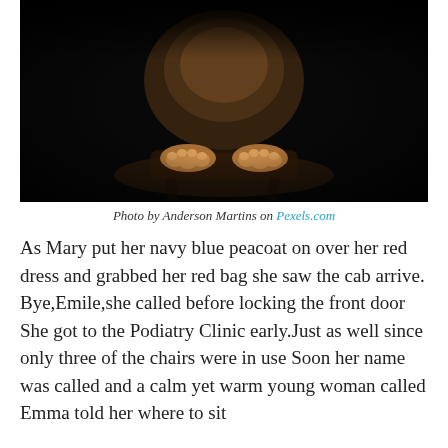[Figure (photo): A dark, moody photograph of a cat (likely a tabby/lion-like animal) resting its paws on a wooden object, set against a very dark/black background.]
Photo by Anderson Martins on Pexels.com
As Mary put her navy blue peacoat on over her red dress and grabbed her red bag she saw the cab arrive. Bye,Emile,she called before locking the front door She got to the Podiatry Clinic early.Just as well since only three of the chairs were in use Soon her name was called and a calm yet warm young woman called Emma told her where to sit